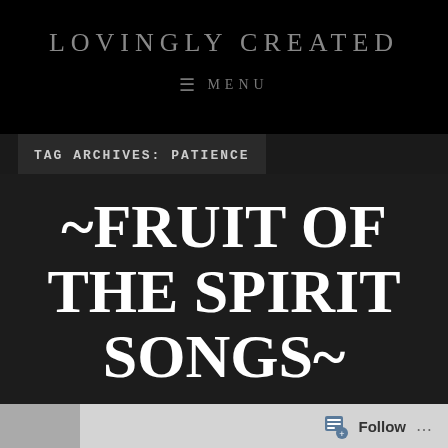LOVINGLY CREATED
≡ MENU
TAG ARCHIVES: PATIENCE
~FRUIT OF THE SPIRIT SONGS~
JANUARY 19, 2022
Follow ...